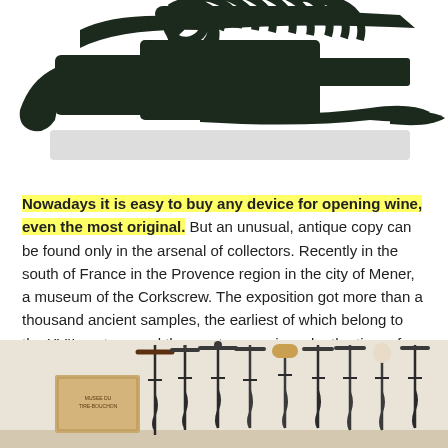[Figure (photo): Close-up photo of a dark green/black mechanical corkscrew wine opener device, showing the lever mechanism and spiral worm, on a white background.]
Nowadays it is easy to buy any device for opening wine, even the most original. But an unusual, antique copy can be found only in the arsenal of collectors. Recently in the south of France in the Provence region in the city of Mener, a museum of the Corkscrew. The exposition got more than a thousand ancient samples, the earliest of which belong to the XVII century, and the most expensive – by the time of Louis XVIII.
[Figure (photo): Photo of a collection of antique corkscrews displayed on a white wall, showing various styles including T-bar and lever types, with a plaque visible on the left side.]